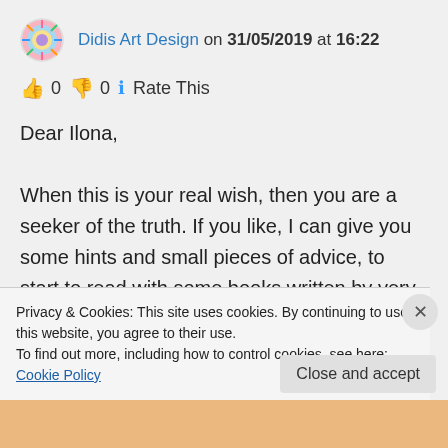Didis Art Design on 31/05/2019 at 16:22
👍 0 👎 0 ℹ Rate This
Dear Ilona,

When this is your real wish, then you are a seeker of the truth. If you like, I can give you some hints and small pieces of advice, to start to read with some books written by very great wise men. They, in fact, have ...
Privacy & Cookies: This site uses cookies. By continuing to use this website, you agree to their use.
To find out more, including how to control cookies, see here: Cookie Policy
Close and accept